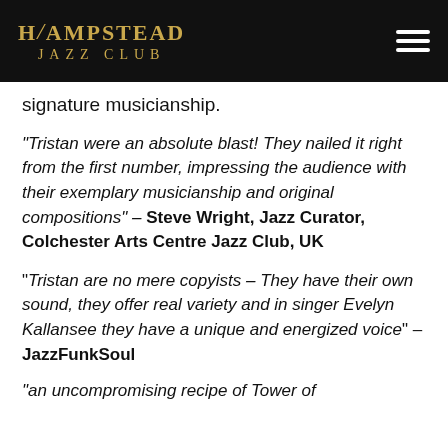[Figure (logo): Hampstead Jazz Club logo in gold text on black background with hamburger menu icon]
signature musicianship.
“Tristan were an absolute blast! They nailed it right from the first number, impressing the audience with their exemplary musicianship and original compositions” – Steve Wright, Jazz Curator, Colchester Arts Centre Jazz Club, UK
“Tristan are no mere copyists – They have their own sound, they offer real variety and in singer Evelyn Kallansee they have a unique and energized voice” – JazzFunkSoul
“an uncompromising recipe of Tower of